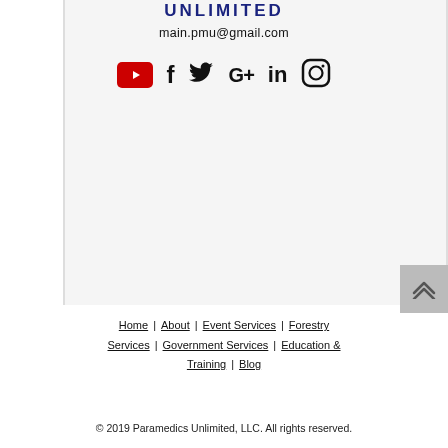UNLIMITED
main.pmu@gmail.com
[Figure (other): Social media icons row: YouTube (red square), Facebook, Twitter, Google+, LinkedIn, Instagram]
[Figure (other): Scroll to top button with upward arrow, grey background]
Home | About | Event Services | Forestry Services | Government Services | Education & Training | Blog
© 2019 Paramedics Unlimited, LLC. All rights reserved.